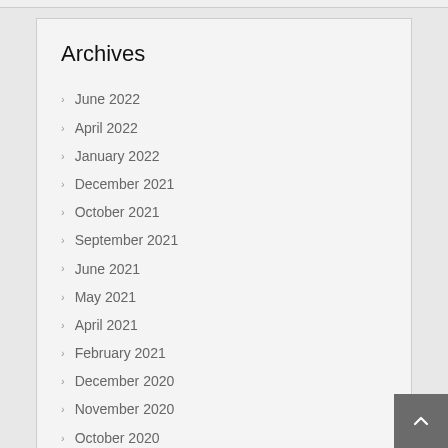Archives
June 2022
April 2022
January 2022
December 2021
October 2021
September 2021
June 2021
May 2021
April 2021
February 2021
December 2020
November 2020
October 2020
July 2020